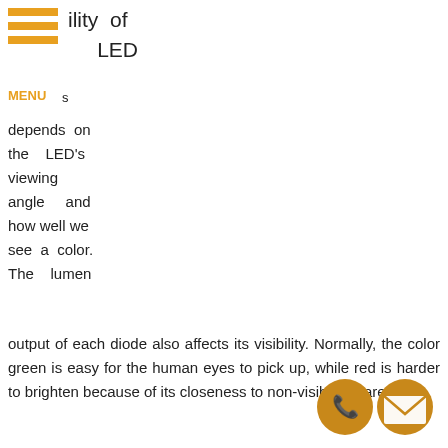ility of LED
MENU  s
depends on the LED's viewing angle and how well we see a color. The lumen output of each diode also affects its visibility. Normally, the color green is easy for the human eyes to pick up, while red is harder to brighten because of its closeness to non-visible infrared light.
LED Indicator Lights
If your LED lighting plan requires a simple visual notification, you can opt for a setup that has a LED indicator light. These indicator lights va in various colors and can be large or smal, epend on